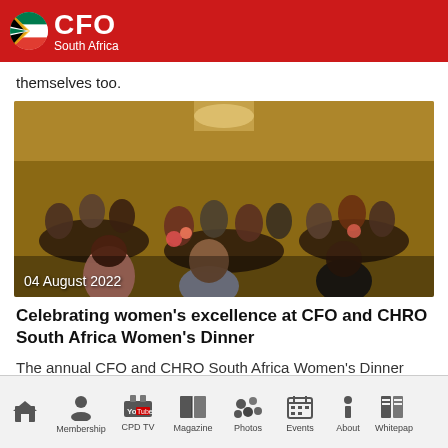CFO South Africa
themselves too.
[Figure (photo): Women seated at round tables at a formal dinner event, photographed in a hotel ballroom with warm lighting. Date overlay: 04 August 2022.]
Celebrating women's excellence at CFO and CHRO South Africa Women's Dinner
The annual CFO and CHRO South Africa Women's Dinner
Home | Membership | CPD TV | Magazine | Photos | Events | About | Whitepaper